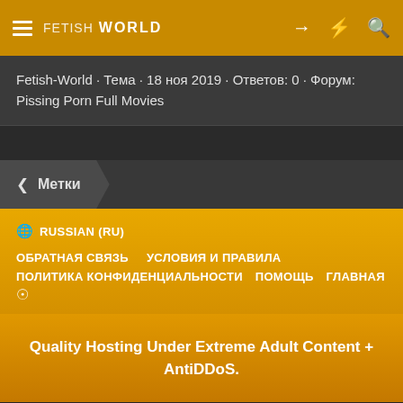FETISH WORLD
Fetish-World · Тема · 18 ноя 2019 · Ответов: 0 · Форум: Pissing Porn Full Movies
< Метки
🌐 RUSSIAN (RU)
ОБРАТНАЯ СВЯЗЬ
УСЛОВИЯ И ПРАВИЛА
ПОЛИТИКА КОНФИДЕНЦИАЛЬНОСТИ
ПОМОЩЬ
ГЛАВНАЯ
Quality Hosting Under Extreme Adult Content + AntiDDoS.